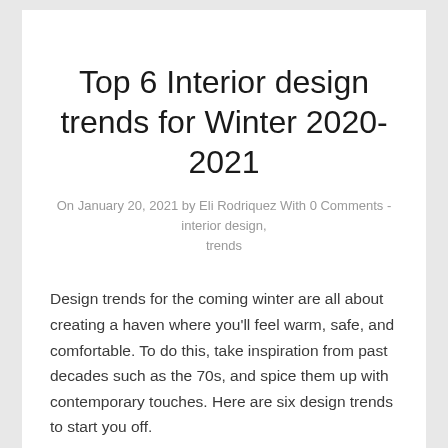Top 6 Interior design trends for Winter 2020-2021
On January 20, 2021 by Eli Rodriquez With 0 Comments - interior design, trends
Design trends for the coming winter are all about creating a haven where you'll feel warm, safe, and comfortable. To do this, take inspiration from past decades such as the 70s, and spice them up with contemporary touches. Here are six design trends to start you off.
1. Winter colors
Neutral shades inspired by the brown of tree branches or the gray of stone, slate, and wood smoke are warm, calming, and